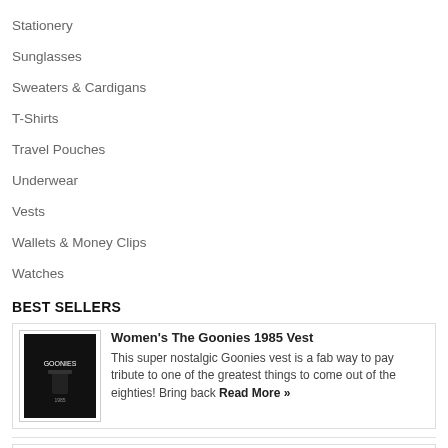Stationery
Sunglasses
Sweaters & Cardigans
T-Shirts
Travel Pouches
Underwear
Vests
Wallets & Money Clips
Watches
BEST SELLERS
[Figure (photo): Women's The Goonies 1985 Vest product image - black vest with Goonies text]
Women's The Goonies 1985 Vest
This super nostalgic Goonies vest is a fab way to pay tribute to one of the greatest things to come out of the eighties! Bring back Read More »
[Figure (photo): Disney Tinker Bell Glitter Lamp product image]
Disney Tinker Bell Glitter Lamp